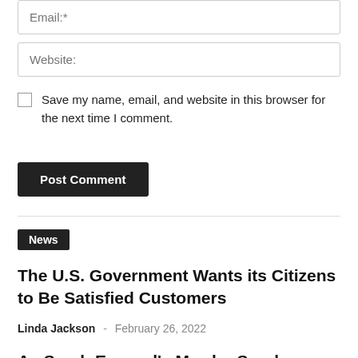Email:
Website:
Save my name, email, and website in this browser for the next time I comment.
Post Comment
News
The U.S. Government Wants its Citizens to Be Satisfied Customers
Linda Jackson - February 26, 2022
As Sarah Everard's Murder Sparks Outrage, Conspiracy Theorists Try to Pirate Focus
Linda Jackson - March 15, 2021